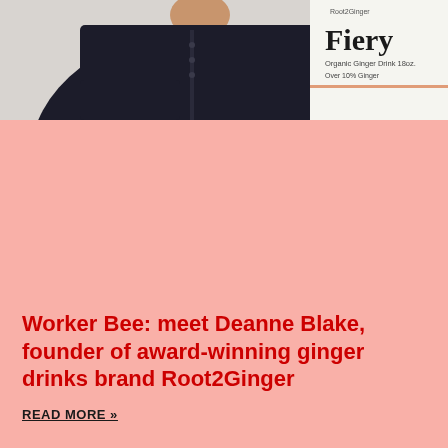[Figure (photo): A person in a dark jacket/blouse, visible from shoulders up. In the upper right corner is a product label reading 'Fiery' with text 'Organic Ginger Drink 18oz. Over 10% Ginger' and 'Root2Ginger' branding. Background is light/white.]
Worker Bee: meet Deanne Blake, founder of award-winning ginger drinks brand Root2Ginger
READ MORE »